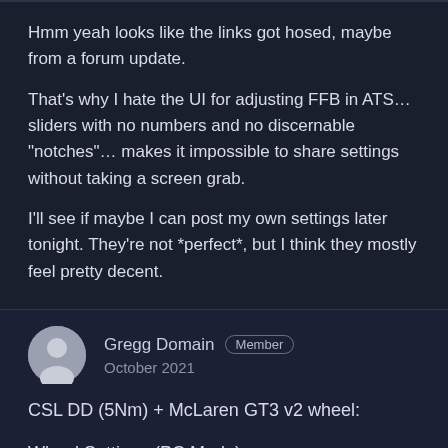Hmm yeah looks like the links got hosed, maybe from a forum update.
That's why I hate the UI for adjusting FFB in ATS… sliders with no numbers and no discernable "notches"… makes it impossible to share settings without taking a screen grab.
I'll see if maybe I can post my own settings later tonight. They're not *perfect*, but I think they mostly feel pretty decent.
Gregg Domain  Member  October 2021
CSL DD (5Nm) + McLaren GT3 v2 wheel:
Wheel Settings (PC Mode)
SEN 900